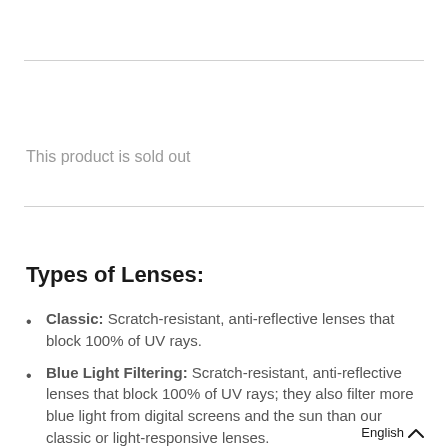This product is sold out
Types of Lenses:
Classic: Scratch-resistant, anti-reflective lenses that block 100% of UV rays.
Blue Light Filtering: Scratch-resistant, anti-reflective lenses that block 100% of UV rays; they also filter more blue light from digital screens and the sun than our classic or light-responsive lenses.
English